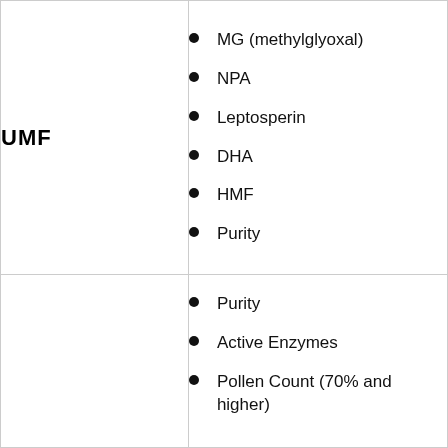| UMF | MG (methylglyoxal)
NPA
Leptosperin
DHA
HMF
Purity |
|  | Purity
Active Enzymes
Pollen Count (70% and higher) |